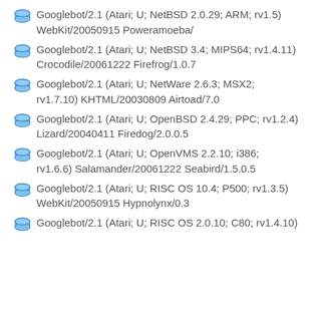Googlebot/2.1 (Atari; U; NetBSD 2.0.29; ARM; rv1.5) WebKit/20050915 Poweramoeba/
Googlebot/2.1 (Atari; U; NetBSD 3.4; MIPS64; rv1.4.11) Crocodile/20061222 Firefrog/1.0.7
Googlebot/2.1 (Atari; U; NetWare 2.6.3; MSX2; rv1.7.10) KHTML/20030809 Airtoad/7.0
Googlebot/2.1 (Atari; U; OpenBSD 2.4.29; PPC; rv1.2.4) Lizard/20040411 Firedog/2.0.0.5
Googlebot/2.1 (Atari; U; OpenVMS 2.2.10; i386; rv1.6.6) Salamander/20061222 Seabird/1.5.0.5
Googlebot/2.1 (Atari; U; RISC OS 10.4; P500; rv1.3.5) WebKit/20050915 Hypnolynx/0.3
Googlebot/2.1 (Atari; U; RISC OS 2.0.10; C80; rv1.4.10)